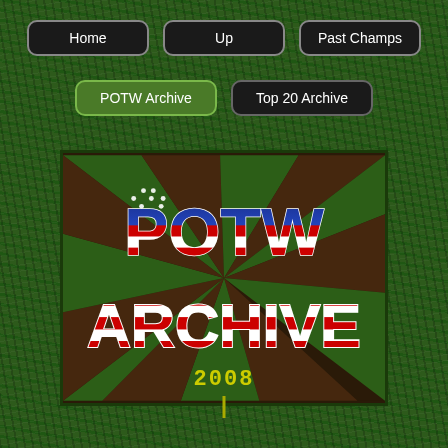Home
Up
Past Champs
POTW Archive
Top 20 Archive
[Figure (illustration): POTW Archive banner with American flag styled text 'POTW' on top and 'ARCHIVE' below, on a dark background with green and brown sunray pattern]
2008